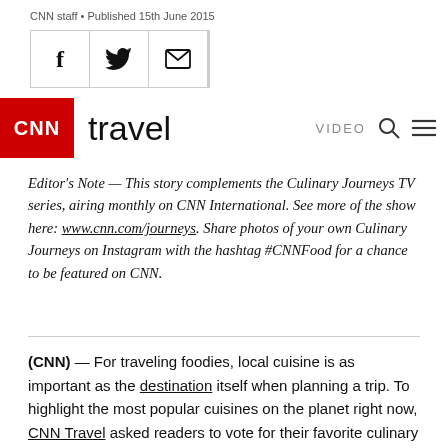CNN staff • Published 15th June 2015
[Figure (other): Social sharing icons: Facebook (f), Twitter (bird), Email (envelope), separated by vertical lines]
[Figure (logo): CNN Travel logo with red CNN box and 'travel' wordmark, plus VIDEO, search, and menu icons on the right]
Editor's Note — This story complements the Culinary Journeys TV series, airing monthly on CNN International. See more of the show here: www.cnn.com/journeys. Share photos of your own Culinary Journeys on Instagram with the hashtag #CNNFood for a chance to be featured on CNN.
(CNN) — For traveling foodies, local cuisine is as important as the destination itself when planning a trip. To highlight the most popular cuisines on the planet right now, CNN Travel asked readers to vote for their favorite culinary destination in an open Facebook poll.